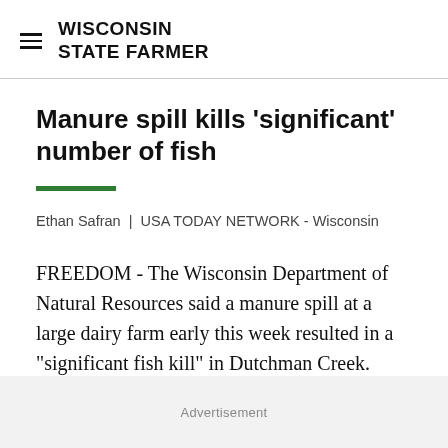WISCONSIN STATE FARMER
Manure spill kills 'significant' number of fish
Ethan Safran  |  USA TODAY NETWORK - Wisconsin
FREEDOM - The Wisconsin Department of Natural Resources said a manure spill at a large dairy farm early this week resulted in a "significant fish kill" in Dutchman Creek.
Advertisement